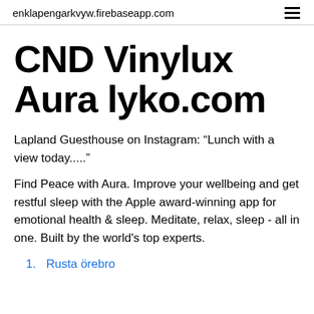enklapengarkvyw.firebaseapp.com
CND Vinylux Aura lyko.com
Lapland Guesthouse on Instagram: “Lunch with a view today.....”
Find Peace with Aura. Improve your wellbeing and get restful sleep with the Apple award-winning app for emotional health & sleep. Meditate, relax, sleep - all in one. Built by the world's top experts.
Rusta örebro